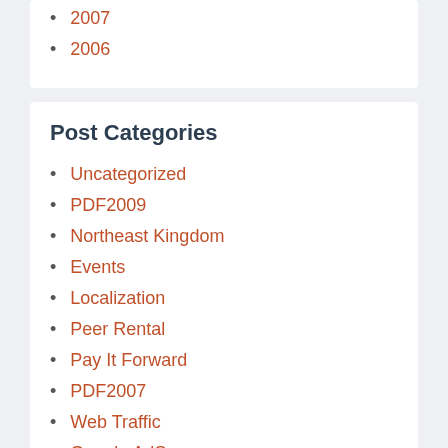2007
2006
Post Categories
Uncategorized
PDF2009
Northeast Kingdom
Events
Localization
Peer Rental
Pay It Forward
PDF2007
Web Traffic
Google AdSense
Elections
berkmansunlight